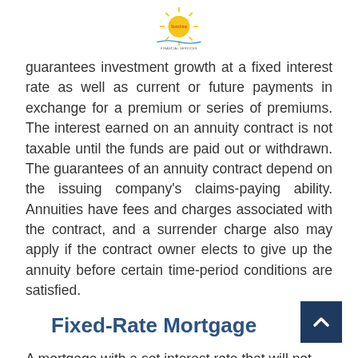Sunshine Financial Services logo
guarantees investment growth at a fixed interest rate as well as current or future payments in exchange for a premium or series of premiums. The interest earned on an annuity contract is not taxable until the funds are paid out or withdrawn. The guarantees of an annuity contract depend on the issuing company's claims-paying ability. Annuities have fees and charges associated with the contract, and a surrender charge also may apply if the contract owner elects to give up the annuity before certain time-period conditions are satisfied.
Fixed-Rate Mortgage
A mortgage with a set interest rate that will not